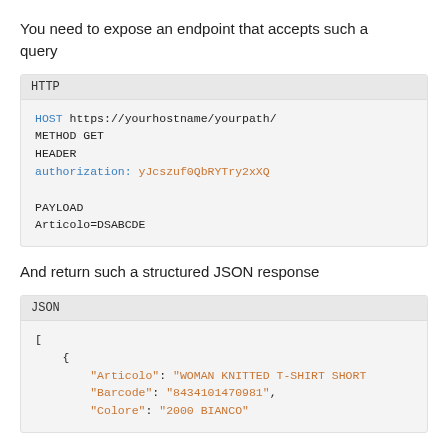You need to expose an endpoint that accepts such a query
[Figure (screenshot): HTTP code block showing HOST, METHOD, HEADER, authorization token, PAYLOAD, and Articolo=DSABCDE]
And return such a structured JSON response
[Figure (screenshot): JSON code block showing start of array with object containing Articolo, Barcode, Colore fields]